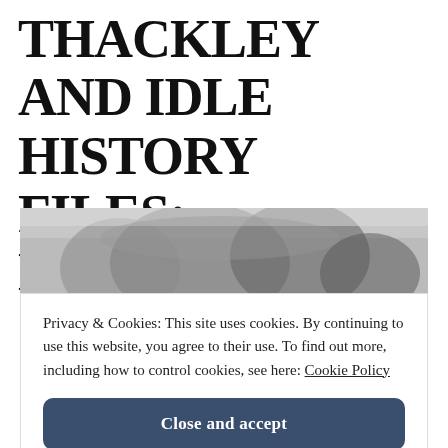THACKLEY AND IDLE HISTORY FILES: Homepage
[Figure (photo): Black and white photograph of trees and landscape, used as a banner image for the Thackley and Idle History Files website.]
Privacy & Cookies: This site uses cookies. By continuing to use this website, you agree to their use. To find out more, including how to control cookies, see here: Cookie Policy
Close and accept
[Figure (photo): Partial black and white photograph visible at the bottom of the page.]